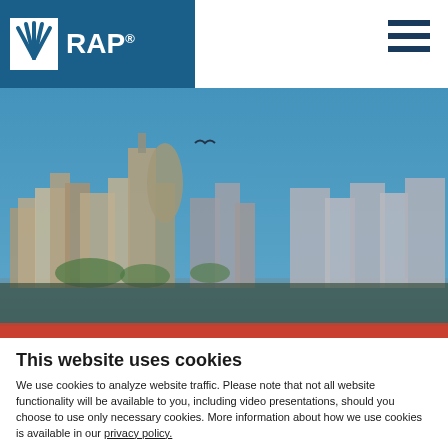RAP®
[Figure (photo): City skyline with buildings under a blue sky, bird in flight, viewed from water level with a red stripe at the bottom]
This website uses cookies
We use cookies to analyze website traffic. Please note that not all website functionality will be available to you, including video presentations, should you choose to use only necessary cookies. More information about how we use cookies is available in our privacy policy.
Use necessary cookies only
Allow all cookies
Show details